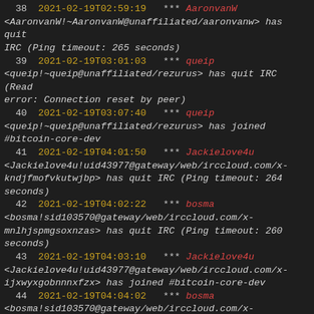38 2021-02-19T02:59:19 *** AaronvanW <AaronvanW!~AaronvanW@unaffiliated/aaronvanw> has quit IRC (Ping timeout: 265 seconds)
39 2021-02-19T03:01:03 *** queip <queip!~queip@unaffiliated/rezurus> has quit IRC (Read error: Connection reset by peer)
40 2021-02-19T03:07:40 *** queip <queip!~queip@unaffiliated/rezurus> has joined #bitcoin-core-dev
41 2021-02-19T04:01:50 *** Jackielove4u <Jackielove4u!uid43977@gateway/web/irccloud.com/x-kndjfmofvkutwjbp> has quit IRC (Ping timeout: 264 seconds)
42 2021-02-19T04:02:22 *** bosma <bosma!sid103570@gateway/web/irccloud.com/x-mnlhjspmgsoxnzas> has quit IRC (Ping timeout: 260 seconds)
43 2021-02-19T04:03:10 *** Jackielove4u <Jackielove4u!uid43977@gateway/web/irccloud.com/x-ijxwyxgobnnnxfzx> has joined #bitcoin-core-dev
44 2021-02-19T04:04:02 *** bosma <bosma!sid103570@gateway/web/irccloud.com/x-obihfdogqjrbicfq> has joined #bitcoin-core-dev
45 2021-02-19T04:12:45 *** vasild <vasild!~vd@gateway/tor-sasl/vasild> has quit IRC (Ping timeout: 268 seconds)
46 2021-02-19T04:30:14 *** vasild <vasild!~vd@gateway/tor-sasl/vasild> has joined